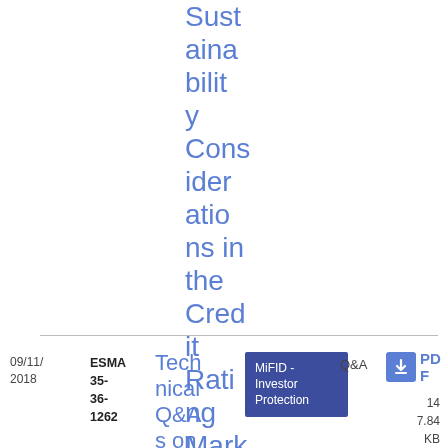Sustainability Considerations in the Credit Rating Market
09/11/2018
ESMA 35-36-1262
Technical Q&As on product
MiFID - Investor Protection
Q&A
PDF
14
7.84 KB